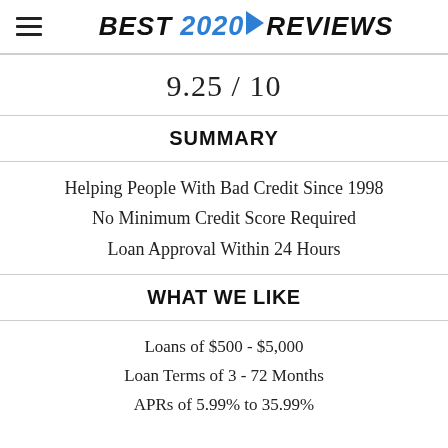BEST 2020 REVIEWS
9.25 / 10
SUMMARY
Helping People With Bad Credit Since 1998
No Minimum Credit Score Required
Loan Approval Within 24 Hours
WHAT WE LIKE
Loans of $500 - $5,000
Loan Terms of 3 - 72 Months
APRs of 5.99% to 35.99%